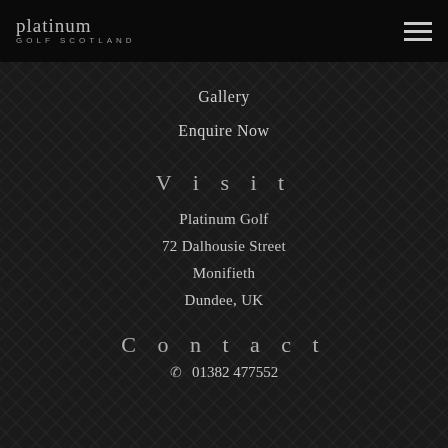[Figure (logo): Platinum Golf Scotland logo — stylized text 'platinum' above 'GOLF SCOTLAND' in small caps]
Gallery
Enquire Now
Visit
Platinum Golf
72 Dalhousie Street
Monifieth
Dundee, UK
Contact
01382 477552